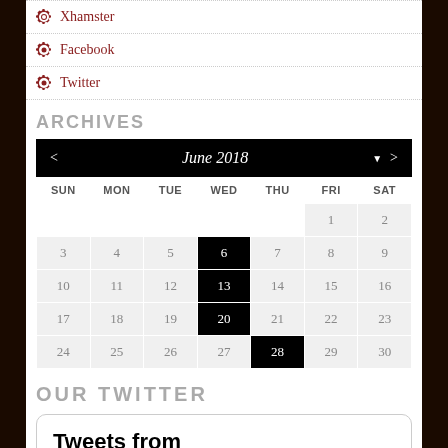Xhamster
Facebook
Twitter
ARCHIVES
[Figure (other): June 2018 calendar widget with navigation arrows. Dates 6, 13, 20 highlighted on Wednesdays and 28 highlighted on Thursday. Calendar shows SUN MON TUE WED THU FRI SAT headers.]
OUR TWITTER
Tweets from